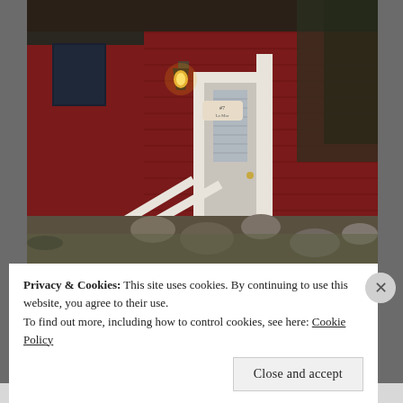[Figure (photo): A red shingle-sided cottage or cabin exterior photographed at dusk or twilight. A white wooden railing/staircase ramp runs diagonally from lower-left toward a white-framed door on the right side. A glowing lantern-style light fixture is mounted above and to the left of the door. A small wooden sign hangs near the door. Rocky landscape and sparse grass surround the base of the building. Dark trees are visible at upper right.]
Privacy & Cookies: This site uses cookies. By continuing to use this website, you agree to their use.
To find out more, including how to control cookies, see here: Cookie Policy
Close and accept